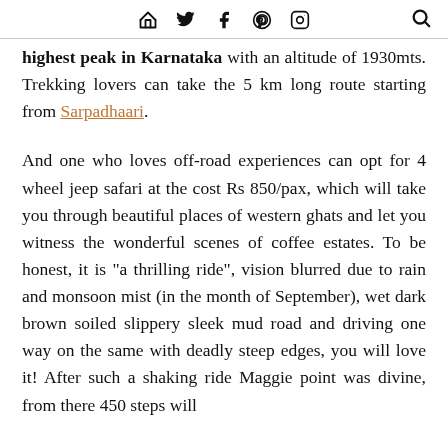[ home ] [ twitter ] [ facebook ] [ pinterest ] [ instagram ]  [ search ]
highest peak in Karnataka with an altitude of 1930mts. Trekking lovers can take the 5 km long route starting from Sarpadhaari.
And one who loves off-road experiences can opt for 4 wheel jeep safari at the cost Rs 850/pax, which will take you through beautiful places of western ghats and let you witness the wonderful scenes of coffee estates. To be honest, it is "a thrilling ride", vision blurred due to rain and monsoon mist (in the month of September), wet dark brown soiled slippery sleek mud road and driving one way on the same with deadly steep edges, you will love it! After such a shaking ride Maggie point was divine, from there 450 steps will